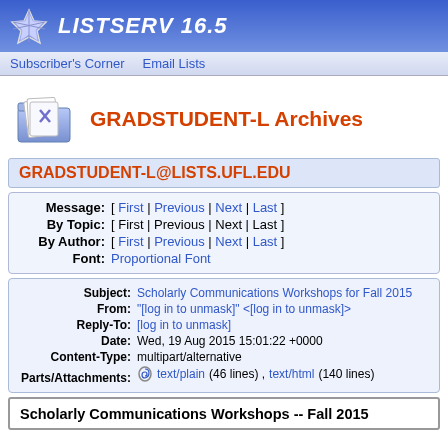LISTSERV 16.5
Subscriber's Corner   Email Lists
GRADSTUDENT-L Archives
GRADSTUDENT-L@LISTS.UFL.EDU
| Message: | [ First | Previous | Next | Last ] |
| By Topic: | [ First | Previous | Next | Last ] |
| By Author: | [ First | Previous | Next | Last ] |
| Font: | Proportional Font |
| Subject: | Scholarly Communications Workshops for Fall 2015 |
| From: | "[log in to unmask]" <[log in to unmask]> |
| Reply-To: | [log in to unmask] |
| Date: | Wed, 19 Aug 2015 15:01:22 +0000 |
| Content-Type: | multipart/alternative |
| Parts/Attachments: | text/plain (46 lines) , text/html (140 lines) |
Scholarly Communications Workshops -- Fall 2015